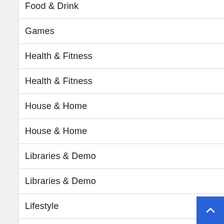Food & Drink
Games
Health & Fitness
Health & Fitness
House & Home
House & Home
Libraries & Demo
Libraries & Demo
Lifestyle